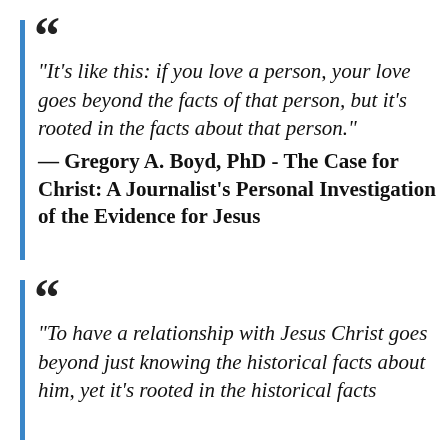“It’s like this: if you love a person, your love goes beyond the facts of that person, but it’s rooted in the facts about that person.” — Gregory A. Boyd, PhD - The Case for Christ: A Journalist’s Personal Investigation of the Evidence for Jesus
“To have a relationship with Jesus Christ goes beyond just knowing the historical facts about him, yet it’s rooted in the historical facts